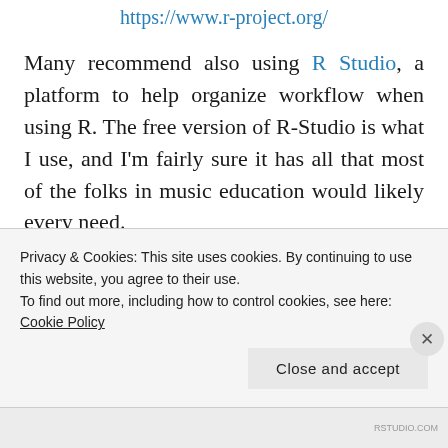https://www.r-project.org/
Many recommend also using R Studio, a platform to help organize workflow when using R. The free version of R-Studio is what I use, and I'm fairly sure it has all that most of the folks in music education would likely every need.
https://www.rstudio.com/
More to the point,   R Studio has an
Privacy & Cookies: This site uses cookies. By continuing to use this website, you agree to their use.
To find out more, including how to control cookies, see here:
Cookie Policy
Close and accept